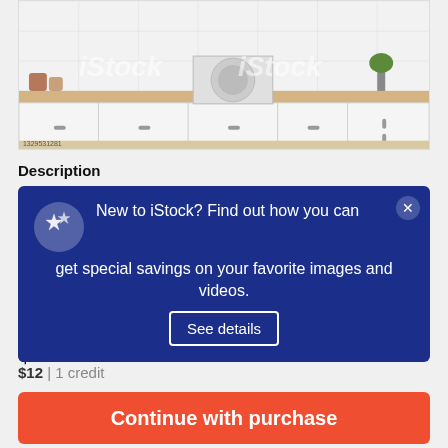[Figure (photo): iStock watermarked photo of a modern white kitchen with cabinets, countertop, oven, and small appliances. Image ID 1329531281.]
Description
New to iStock? Find out how you can get special savings on your favorite images and videos. See details
$12
$12 | 1 credit
Continue with purchase